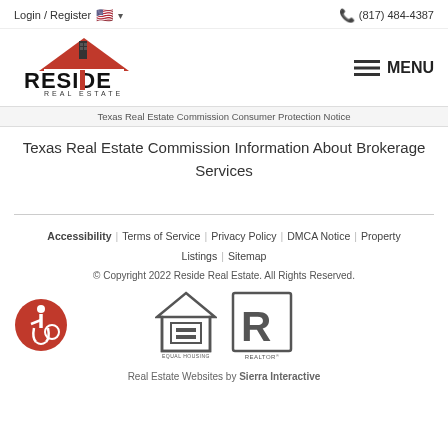Login / Register  (817) 484-4387
[Figure (logo): Reside Real Estate logo with red roof and letter I as vertical line, REAL ESTATE text below]
MENU
Texas Real Estate Commission Consumer Protection Notice
Texas Real Estate Commission Information About Brokerage Services
Accessibility | Terms of Service | Privacy Policy | DMCA Notice | Property Listings | Sitemap
© Copyright 2022 Reside Real Estate. All Rights Reserved.
[Figure (logo): Equal Housing Opportunity logo]
[Figure (logo): REALTOR logo]
[Figure (logo): Accessibility red circle badge with wheelchair icon]
Real Estate Websites by Sierra Interactive